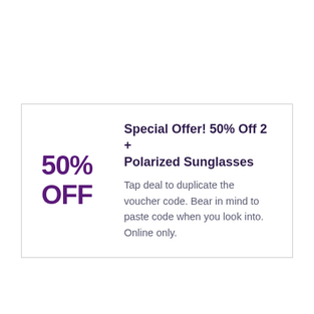Special Offer! 50% Off 2 + Polarized Sunglasses
Tap deal to duplicate the voucher code. Bear in mind to paste code when you look into. Online only.